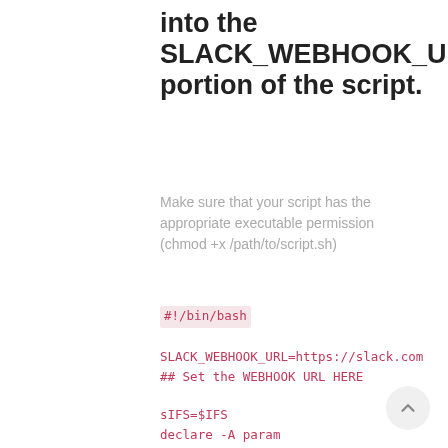into the SLACK_WEBHOOK_URL portion of the script.
Make sure that your script has the appropriate executable permission (chmod +x /path/to/script.sh)
#!/bin/bash
SLACK_WEBHOOK_URL=https://slack.com
## Set the WEBHOOK URL HERE
sIFS=$IFS
declare -A param
while IFS='=' read -r -d '&' key
value; do